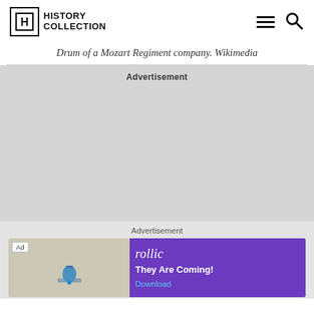HISTORY COLLECTION
Drum of a Mozart Regiment company. Wikimedia
Advertisement
Advertisement
[Figure (other): Advertisement banner for Rollic game 'They Are Coming!' with purple background and download button]